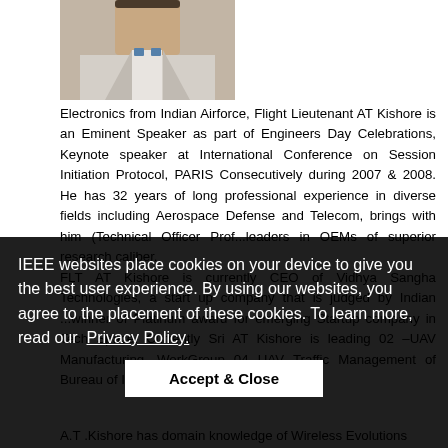[Figure (photo): Partial photo of a person in light-colored suit at top of page]
Electronics from Indian Airforce, Flight Lieutenant AT Kishore is an Eminent Speaker as part of Engineers Day Celebrations, Keynote speaker at International Conference on Session Initiation Protocol, PARIS Consecutively during 2007 & 2008. He has 32 years of long professional experience in diverse fields including Aerospace Defense and Telecom, brings with him (text partially obscured by cookie overlay) ...Technical Officer Prof...leaders in OEMs of superior research caliber. FLT AT Kishore is currently CEO of Vidhya Sangha Technologies, a start up company that is judged by Indian ...winner of Platinum award for emerging Startup company in Tech Space. Currently Sri AT Kishore is leading 02 –UAV Manufacturing, WorkGroup 04 UAV Traffic Management of Bureau of Indian Standards TED 14.1
IEEE websites place cookies on your device to give you the best user experience. By using our websites, you agree to the placement of these cookies. To learn more, read our Privacy Policy.
Accept & Close
A.T .Kishore has domain knowledge of Wireless Evolutions